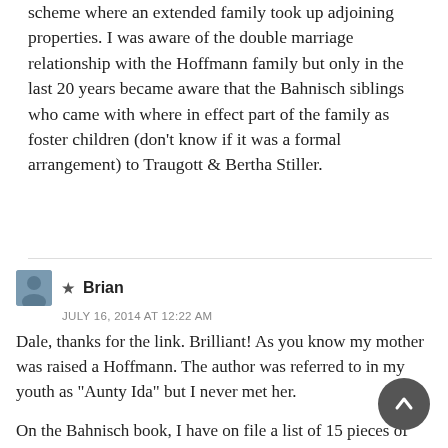The settlement in Qld was done under a family settlement scheme where an extended family took up adjoining properties. I was aware of the double marriage relationship with the Hoffmann family but only in the last 20 years became aware that the Bahnisch siblings who came with where in effect part of the family as foster children (don't know if it was a formal arrangement) to Traugott & Bertha Stiller.
★ Brian
JULY 16, 2014 AT 12:22 AM
Dale, thanks for the link. Brilliant! As you know my mother was raised a Hoffmann. The author was referred to in my youth as "Aunty Ida" but I never met her.
On the Bahnisch book, I have on file a list of 15 pieces of writing, 10 by yours truly. I've been meaning to send you for the longest time! Late this month Len and I with